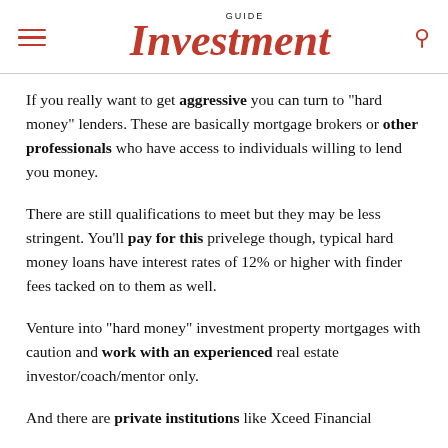GUIDE Investment
If you really want to get aggressive you can turn to “hard money” lenders. These are basically mortgage brokers or other professionals who have access to individuals willing to lend you money.
There are still qualifications to meet but they may be less stringent. You’ll pay for this privelege though, typical hard money loans have interest rates of 12% or higher with finder fees tacked on to them as well.
Venture into “hard money” investment property mortgages with caution and work with an experienced real estate investor/coach/mentor only.
And there are private institutions like Xceed Financial